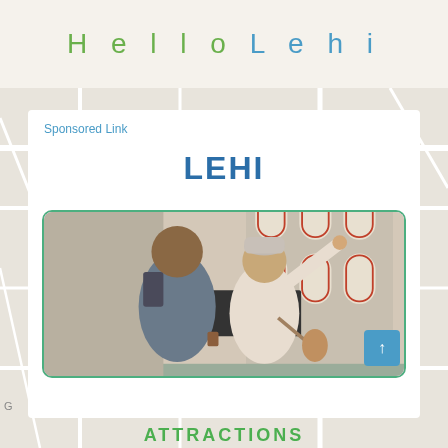Hello Lehi
Sponsored Link
LEHI
[Figure (photo): A couple of tourists sightseeing in a city, smiling and pointing upward at a classical European-style building with arched windows. The man has a backpack and beard; the woman wears a knit hat and cream coat. Urban street scene.]
ATTRACTIONS